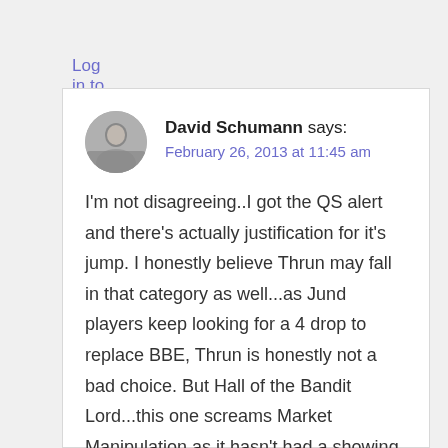Log in to Reply
[Figure (photo): Avatar photo of David Schumann, a man with grey hair]
David Schumann says:
February 26, 2013 at 11:45 am
I'm not disagreeing..I got the QS alert and there's actually justification for it's jump. I honestly believe Thrun may fall in that category as well...as Jund players keep looking for a 4 drop to replace BBE, Thrun is honestly not a bad choice. But Hall of the Bandit Lord...this one screams Market Manipulation as it hasn't had a showing in anything so unless some